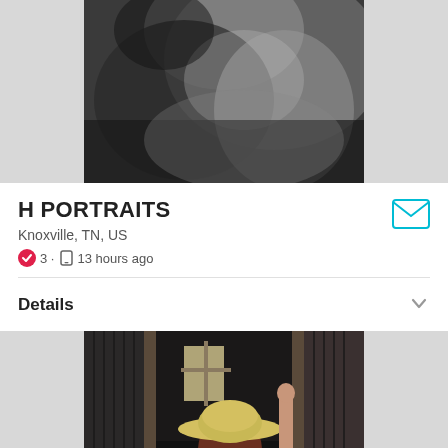[Figure (photo): Black and white close-up portrait photo, cropped abstract view of a person]
H PORTRAITS
Knoxville, TN, US
✓ 3 · □ 13 hours ago
[Figure (illustration): Cyan envelope/mail icon button]
Details
[Figure (photo): Color photo of a young woman wearing a straw cowboy hat, leaning against a wooden barn door frame]